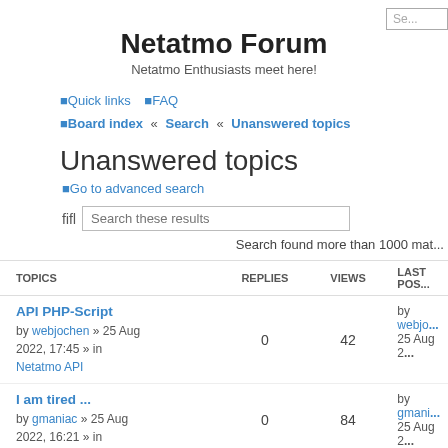Netatmo Forum
Netatmo Enthusiasts meet here!
Quick links  FAQ
Board index « Search « Unanswered topics
Unanswered topics
Go to advanced search
Search these results
Search found more than 1000 mat...
| TOPICS | REPLIES | VIEWS | LAST PO... |
| --- | --- | --- | --- |
| API PHP-Script
by webjochen » 25 Aug 2022, 17:45 » in Netatmo API | 0 | 42 | by webjo...
25 Aug 2... |
| I am tired ...
by gmaniac » 25 Aug 2022, 16:21 » in | 0 | 84 | by gmani...
25 Aug 2... |